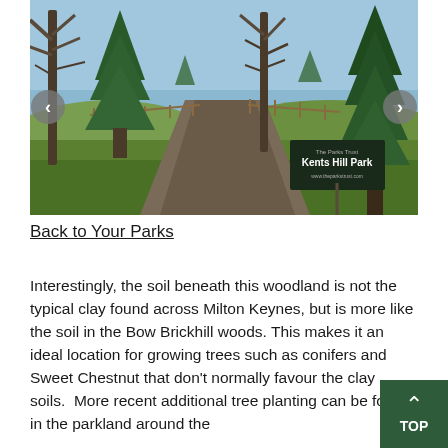[Figure (photo): Photograph of Kents Hill Park showing a winding dirt path flanked by bare deciduous trees and evergreen conifers, with a wooden fence and green grass, and a dark green park sign reading 'Kents Hill Park'. Navigation arrows visible on left and right sides of the image.]
Back to Your Parks
Interestingly, the soil beneath this woodland is not the typical clay found across Milton Keynes, but is more like the soil in the Bow Brickhill woods. This makes it an ideal location for growing trees such as conifers and Sweet Chestnut that don't normally favour the clay soils.  More recent additional tree planting can be found in the parkland around the